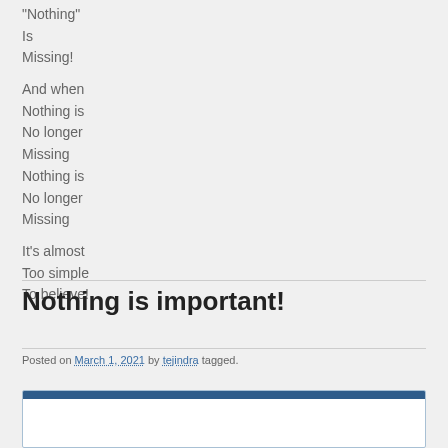“Nothing”
Is
Missing!
And when
Nothing is
No longer
Missing
Nothing is
No longer
Missing
It’s almost
Too simple
To believe!
Nothing is important!
Posted on March 1, 2021 by tejindra tagged.